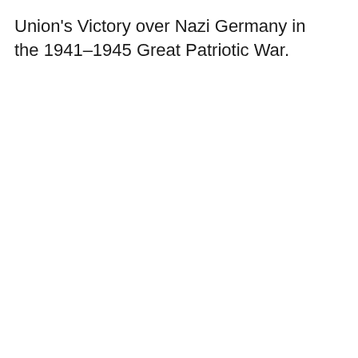Union's Victory over Nazi Germany in the 1941–1945 Great Patriotic War.